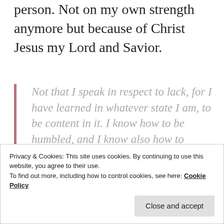person. Not on my own strength anymore but because of Christ Jesus my Lord and Savior.
Not that I speak in respect to lack, for I have learned in whatever state I am, to be content in it. I know how to be humbled, and I know also how to abound. In everything and in all things I have learned the secret both to be filled and to be
Privacy & Cookies: This site uses cookies. By continuing to use this website, you agree to their use.
To find out more, including how to control cookies, see here: Cookie Policy
Close and accept
Philippians 4:11-12